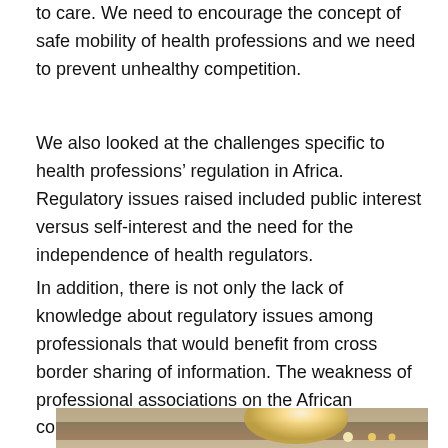to care. We need to encourage the concept of safe mobility of health professions and we need to prevent unhealthy competition.
We also looked at the challenges specific to health professions' regulation in Africa. Regulatory issues raised included public interest versus self-interest and the need for the independence of health regulators.
In addition, there is not only the lack of knowledge about regulatory issues among professionals that would benefit from cross border sharing of information. The weakness of professional associations on the African continent was also highlighted as well as cultural and gender issues.
[Figure (photo): Interior photo of a conference room or meeting hall showing ceiling panels with recessed lighting, a projection screen on the left wall, and warm wooden ceiling trim with spotlights.]